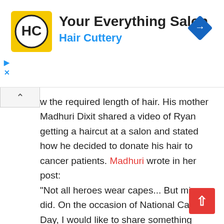[Figure (logo): Hair Cuttery advertisement banner with HC logo in yellow square, title 'Your Everything Salon', subtitle 'Hair Cuttery' in blue, and a blue diamond navigation icon on the right]
w the required length of hair. His mother Madhuri Dixit shared a video of Ryan getting a haircut at a salon and stated how he decided to donate his hair to cancer patients. Madhuri wrote in her post:
"Not all heroes wear capes... But mine did. On the occasion of National Cancer Day, I would like to share something really special. Ryan felt heartbroken seeing several folks who were undergoing chemo for cancer. With everything they go through, they lose their hair. My son took a call of donating his hair to the Cancer Society. We as parents were thrilled with his decision."